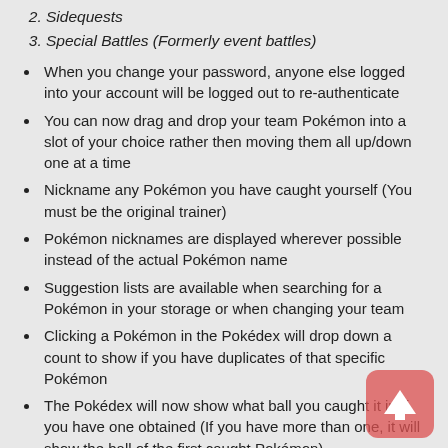Sidequests
Special Battles (Formerly event battles)
When you change your password, anyone else logged into your account will be logged out to re-authenticate
You can now drag and drop your team Pokémon into a slot of your choice rather then moving them all up/down one at a time
Nickname any Pokémon you have caught yourself (You must be the original trainer)
Pokémon nicknames are displayed wherever possible instead of the actual Pokémon name
Suggestion lists are available when searching for a Pokémon in your storage or when changing your team
Clicking a Pokémon in the Pokédex will drop down a count to show if you have duplicates of that specific Pokémon
The Pokédex will now show what ball you caught it in if you have one obtained (If you have more than one, it will show the ball of the first caught Pokémon)
You can now search the Pokédex or order it by dex number, name or rarity
All user lists in the members tab will now show the user account type, avatar and clan tag of each user